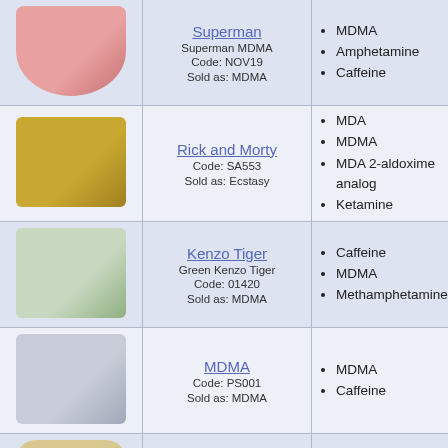| Image | Name/Code | Contents | More |
| --- | --- | --- | --- |
| [Superman pill photo] | Superman
Superman MDMA
Code: NOV19
Sold as: MDMA | MDMA
Amphetamine
Caffeine | •
• |
| [Rick and Morty pill photo] | Rick and Morty
Code: SA553
Sold as: Ecstasy | MDA
MDMA
MDA 2-aldoxime analog
Ketamine | •
•
•
• |
| [Kenzo Tiger pill photo] | Kenzo Tiger
Green Kenzo Tiger
Code: 01420
Sold as: MDMA | Caffeine
MDMA
Methamphetamine | •
•
• |
| [MDMA pill photo] | MDMA
Code: PS001
Sold as: MDMA | MDMA
Caffeine | •
• |
| [Molly pill photo] | Molly
Code: Verv9
Sold as: MDMA | MDMA
MDA | •
• |
| [Instagram pill photo] | Instagram
Code: 00422
Sold as: Strong MDMA | MDMA
MDA
MDA 2-aldoxime | •
•
• |